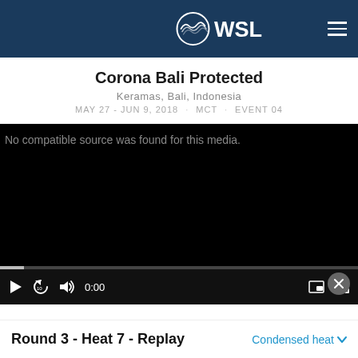WSL
Corona Bali Protected
Keramas, Bali, Indonesia
MAY 27 - JUN 9, 2018 · MCT · EVENT 04
[Figure (screenshot): Video player with black screen showing 'No compatible source was found for this media.' with playback controls at the bottom including play button, rewind 10s, volume, time display 0:00, picture-in-picture, and fullscreen buttons.]
Round 3 - Heat 7 - Replay
Condensed heat